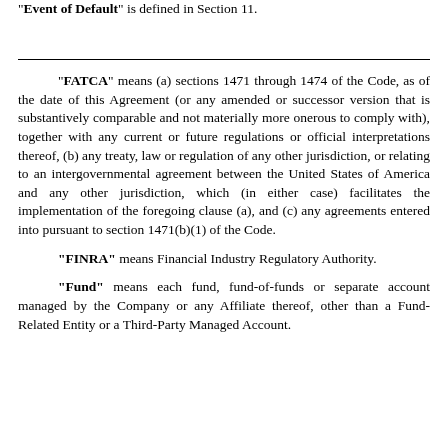“Event of Default” is defined in Section 11.
“FATCA” means (a) sections 1471 through 1474 of the Code, as of the date of this Agreement (or any amended or successor version that is substantively comparable and not materially more onerous to comply with), together with any current or future regulations or official interpretations thereof, (b) any treaty, law or regulation of any other jurisdiction, or relating to an intergovernmental agreement between the United States of America and any other jurisdiction, which (in either case) facilitates the implementation of the foregoing clause (a), and (c) any agreements entered into pursuant to section 1471(b)(1) of the Code.
“FINRA” means Financial Industry Regulatory Authority.
“Fund” means each fund, fund-of-funds or separate account managed by the Company or any Affiliate thereof, other than a Fund-Related Entity or a Third-Party Managed Account.